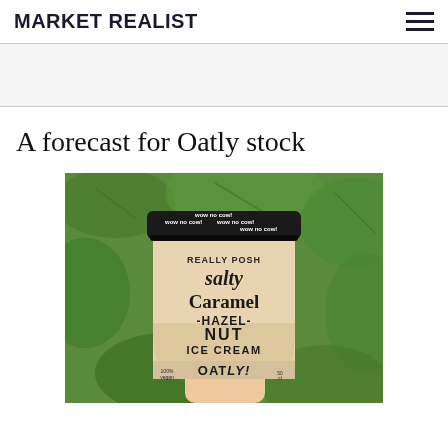MARKET REALIST
A forecast for Oatly stock
[Figure (photo): A hand holding an Oatly brand ice cream container labeled 'Really Posh Salty Caramel Hazel-Nut Ice Cream' with green leafy background. The container has a black lid with 'wow no cow!' text repeated around it.]